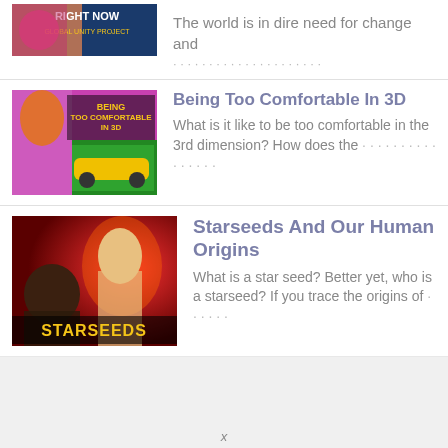[Figure (screenshot): Partial thumbnail of a video titled RIGHT NOW GLOBAL UNITY PROJECT with colorful imagery]
The world is in dire need for change and ...
[Figure (screenshot): Thumbnail for Being Too Comfortable In 3D video showing a man with colorful hair, money, and a yellow Lamborghini]
Being Too Comfortable In 3D
What is it like to be too comfortable in the 3rd dimension? How does the...
[Figure (screenshot): Thumbnail for Starseeds And Our Human Origins video showing two women on a red background with STARSEEDS text]
Starseeds And Our Human Origins
What is a star seed?  Better yet, who is a starseed? If you trace the origins of...
x